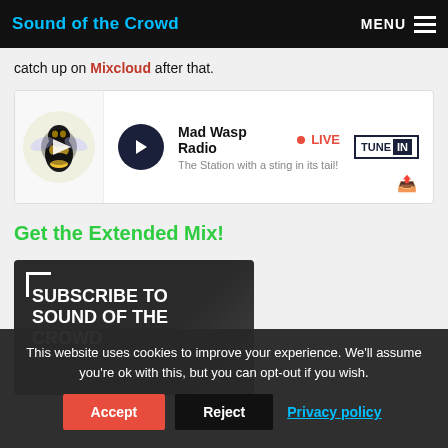Sound of the Crowd | MENU
catch up on Mixcloud after that.
[Figure (screenshot): Mad Wasp Radio TuneIn player widget showing a wasp logo, play button, 'Mad Wasp Radio • LIVE — The Station with a sting in its tail!' and a TuneIn badge.]
Get the Extended Mix!
[Figure (illustration): Dark promotional banner with white bracket corner decoration reading 'SUBSCRIBE TO SOUND OF THE CROWD' in bold white uppercase text.]
This website uses cookies to improve your experience. We'll assume you're ok with this, but you can opt-out if you wish.
Accept | Reject | Privacy policy